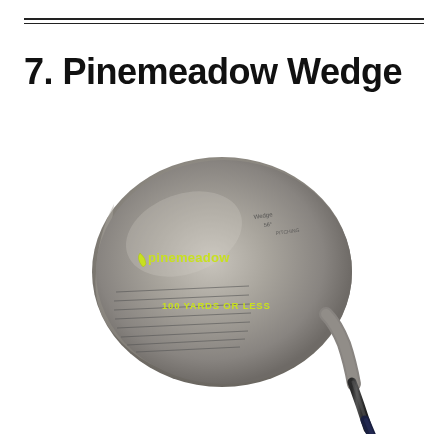7. Pinemeadow Wedge
[Figure (photo): A Pinemeadow golf wedge club with a brushed gunmetal/silver head, featuring a yellow-green Pinemeadow logo with a leaf icon, and text reading '100 YARDS OR LESS'. The club face shows grooves and text indicating wedge/pitching specifications. The shaft is dark/black.]